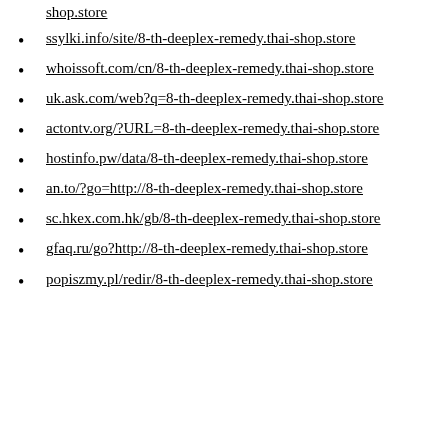shop.store
ssylki.info/site/8-th-deeplex-remedy.thai-shop.store
whoissoft.com/cn/8-th-deeplex-remedy.thai-shop.store
uk.ask.com/web?q=8-th-deeplex-remedy.thai-shop.store
actontv.org/?URL=8-th-deeplex-remedy.thai-shop.store
hostinfo.pw/data/8-th-deeplex-remedy.thai-shop.store
an.to/?go=http://8-th-deeplex-remedy.thai-shop.store
sc.hkex.com.hk/gb/8-th-deeplex-remedy.thai-shop.store
gfaq.ru/go?http://8-th-deeplex-remedy.thai-shop.store
popiszmy.pl/redir/8-th-deeplex-remedy.thai-shop.store